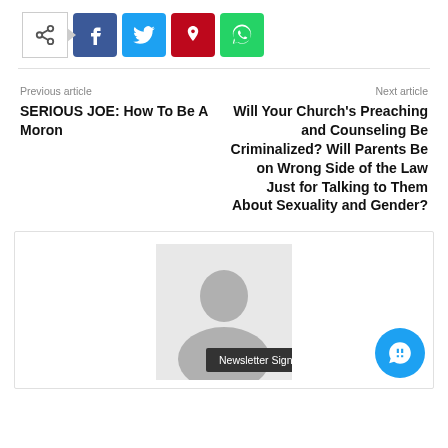[Figure (infographic): Social share bar with share icon, Facebook, Twitter, Pinterest, and WhatsApp buttons]
Previous article
SERIOUS JOE: How To Be A Moron
Next article
Will Your Church's Preaching and Counseling Be Criminalized? Will Parents Be on Wrong Side of the Law Just for Talking to Them About Sexuality and Gender?
[Figure (infographic): Author avatar placeholder image with grey background and default person silhouette icon, with Newsletter Signup tooltip overlay and chat bubble button]